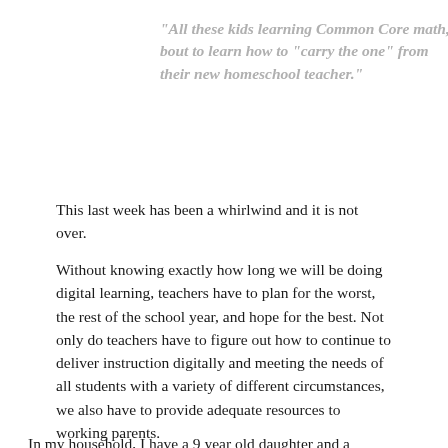“All these kids learning Common Core math, bout to learn how to “carry the one” from their new homeschool teacher.”
This last week has been a whirlwind and it is not over.
Without knowing exactly how long we will be doing digital learning, teachers have to plan for the worst, the rest of the school year, and hope for the best. Not only do teachers have to figure out how to continue to deliver instruction digitally and meeting the needs of all students with a variety of different circumstances, we also have to provide adequate resources to working parents.
In my household, I have a 9 year old daughter and a